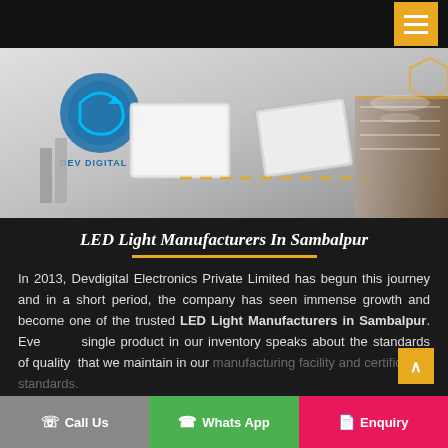Dev Digital — LED Light Manufacturers In Sambalpur — Navigation
[Figure (photo): Hero banner showing LED panel lights and a retail store interior with modern lighting, with Dev Digital logo and hexagonal design elements on a light gray background with orange dashed line accent]
LED Light Manufacturers In Sambalpur
In 2013, Devdigital Electronics Private Limited has begun this journey and in a short period, the company has seen immense growth and become one of the trusted LED Light Manufacturers in Sambalpur. Every single product in our inventory speaks about the standards of quality that we maintain in our manufacturing facility and certification standards.
Call Us | Whats App | Enquiry